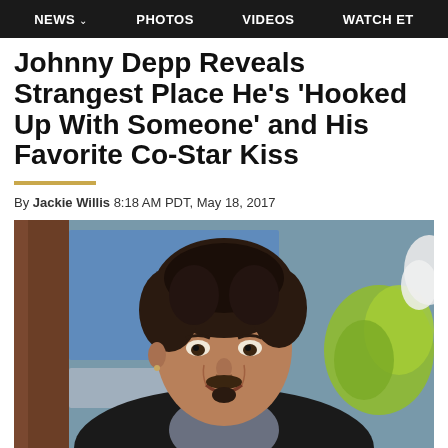NEWS  PHOTOS  VIDEOS  WATCH ET
Johnny Depp Reveals Strangest Place He's 'Hooked Up With Someone' and His Favorite Co-Star Kiss
By Jackie Willis 8:18 AM PDT, May 18, 2017
[Figure (photo): Johnny Depp smiling on a talk show set, wearing a black jacket and necklace, with a blue and green background behind him.]